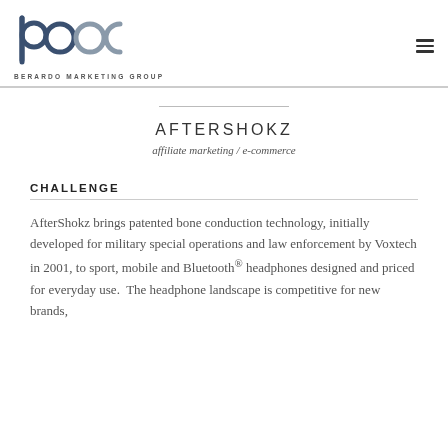[Figure (logo): Berardo Marketing Group logo — stylized 'bmc' letterforms in dark blue and gray, with 'BERARDO MARKETING GROUP' text beneath]
AFTERSHOKZ
affiliate marketing / e-commerce
CHALLENGE
AfterShokz brings patented bone conduction technology, initially developed for military special operations and law enforcement by Voxtech in 2001, to sport, mobile and Bluetooth® headphones designed and priced for everyday use.  The headphone landscape is competitive for new brands,